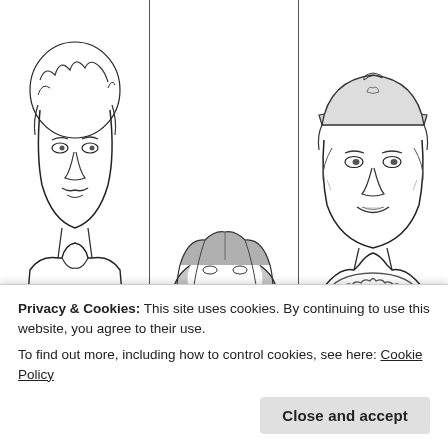[Figure (illustration): Three-panel black-and-white line drawing: left panel shows a young man with curly hair, mustache, and t-shirt with pocket and tropical leaves; center panel shows partial view of a woman with dark hair; right panel shows a person wearing a cap and large chain necklace.]
Privacy & Cookies: This site uses cookies. By continuing to use this website, you agree to their use.
To find out more, including how to control cookies, see here: Cookie Policy